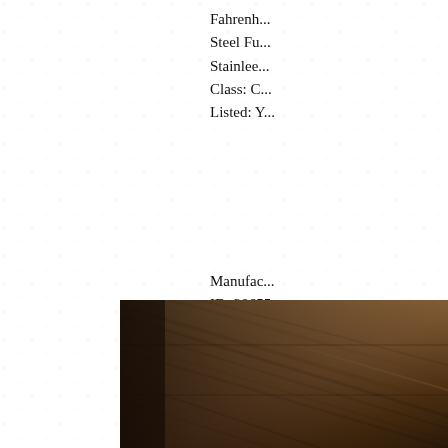Fahrenh... Steel Fu... Stainlee... Class: C... Listed: Y...
Manufac... ID: 20655... Category... SKU: 28... secure II...
[Figure (photo): Close-up photograph of wood grain surface, diagonal boards with warm brown tones and dark shadows at lower left.]